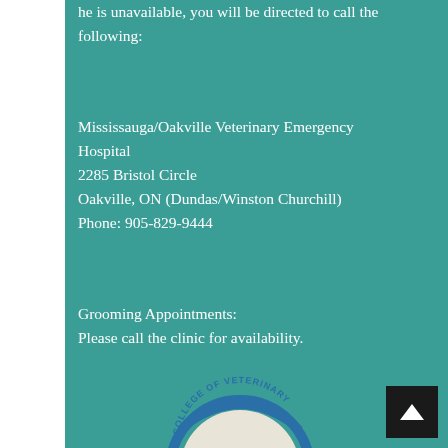he is unavailable, you will be directed to call the following:
Mississauga/Oakville Veterinary Emergency Hospital
2285 Bristol Circle
Oakville, ON (Dundas/Winston Churchill)
Phone: 905-829-9444
Grooming Appointments:
Please call the clinic for availability.
[Figure (logo): College of Veterinary circular seal/logo with blue and white design]